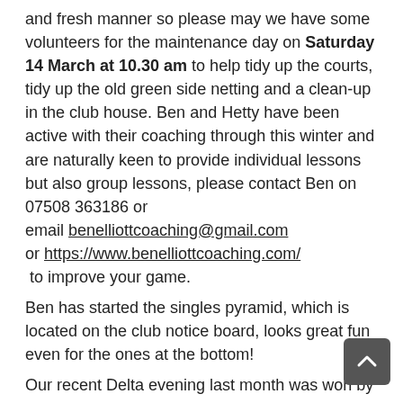and fresh manner so please may we have some volunteers for the maintenance day on Saturday 14 March at 10.30 am to help tidy up the courts, tidy up the old green side netting and a clean-up in the club house. Ben and Hetty have been active with their coaching through this winter and are naturally keen to provide individual lessons but also group lessons, please contact Ben on 07508 363186 or email benelliottcoaching@gmail.com or https://www.benelliottcoaching.com/  to improve your game.
Ben has started the singles pyramid, which is located on the club notice board, looks great fun even for the ones at the bottom!
Our recent Delta evening last month was won by both mother and son, Linda Roberts and Mike Roberts, well done to you both especially Linda who had us all running around the court. Thank you to Kim Stuckey for organising a great evening with lots of tennis and a